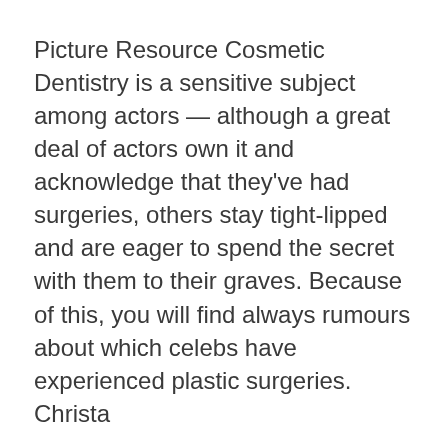Picture Resource Cosmetic Dentistry is a sensitive subject among actors — although a great deal of actors own it and acknowledge that they've had surgeries, others stay tight-lipped and are eager to spend the secret with them to their graves. Because of this, you will find always rumours about which celebs have experienced plastic surgeries. Christa